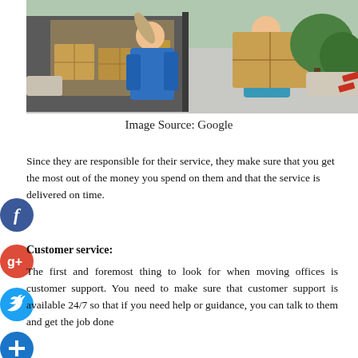[Figure (photo): Two movers in blue shirts loading cardboard boxes and a rolled carpet/rug into a moving van. Green trees and parked cars visible in the background.]
Image Source: Google
Since they are responsible for their service, they make sure that you get the most out of the money you spend on them and that the service is delivered on time.
Customer service:
The first and foremost thing to look for when moving offices is customer support. You need to make sure that customer support is available 24/7 so that if you need help or guidance, you can talk to them and get the job done